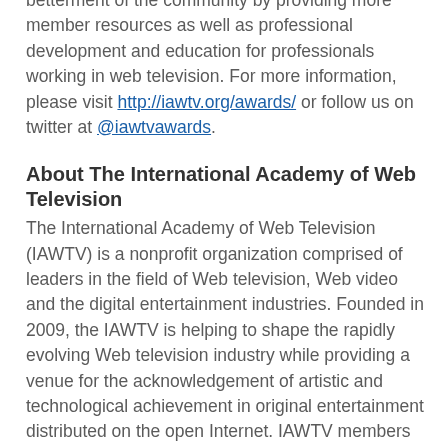betterment of the community by providing more member resources as well as professional development and education for professionals working in web television. For more information, please visit http://iawtv.org/awards/ or follow us on twitter at @iawtvawards.
About The International Academy of Web Television
The International Academy of Web Television (IAWTV) is a nonprofit organization comprised of leaders in the field of Web television, Web video and the digital entertainment industries. Founded in 2009, the IAWTV is helping to shape the rapidly evolving Web television industry while providing a venue for the acknowledgement of artistic and technological achievement in original entertainment distributed on the open Internet. IAWTV members include actors, agents, composers, content developers, directors, editors,